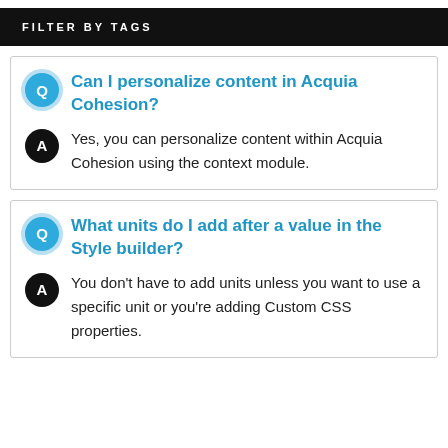FILTER BY TAGS
Can I personalize content in Acquia Cohesion?
Yes, you can personalize content within Acquia Cohesion using the context module.
What units do I add after a value in the Style builder?
You don't have to add units unless you want to use a specific unit or you're adding Custom CSS properties.